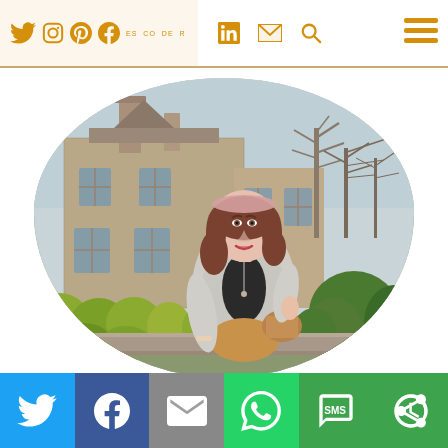Social media navigation header with icons: Twitter, Instagram, Pinterest, Facebook, LinkedIn, Email, Search, and menu
[Figure (photo): Woman wearing a pink headband, light grey coat over a black top and camel skirt, standing in front of a stone manor house with gardens, topiary bushes, and bare winter trees. Photo is cropped in an oval/egg shape.]
Social share buttons: Twitter, Facebook, Email, WhatsApp, SMS, Other